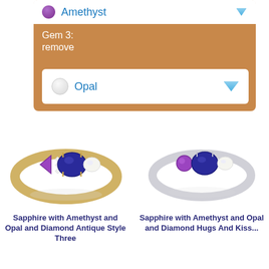[Figure (screenshot): UI dropdown selector showing Amethyst gem selected with purple gem icon and blue dropdown arrow on white background within an orange/tan panel]
Gem 3:
remove
[Figure (screenshot): UI dropdown selector showing Opal gem selected with white/grey opal icon and blue dropdown arrow on white background]
[Figure (photo): Gold ring with purple amethyst, blue sapphire oval center stone, white opal, and diamond accents - Antique style three stone ring]
[Figure (photo): White gold/silver ring with purple amethyst, blue sapphire oval center stone, white opal, and diamond accents - Hugs and Kisses style ring]
Sapphire with Amethyst and Opal and Diamond Antique Style Three
Sapphire with Amethyst and Opal and Diamond Hugs And Kiss...